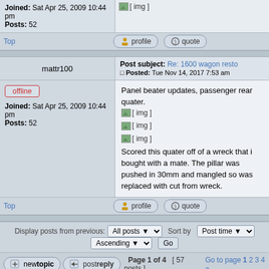| User | Post |
| --- | --- |
| Joined: Sat Apr 25, 2009 10:44 pm
Posts: 52 | [ img ] |
Top | profile | quote
| Username | Post Subject/Content |
| --- | --- |
| mattr100 | Post subject: Re: 1600 wagon resto
Posted: Tue Nov 14, 2017 7:53 am |
| offline
Joined: Sat Apr 25, 2009 10:44 pm
Posts: 52 | Panel beater updates, passenger rear quater.
[ img ]
[ img ]
[ img ]
Scored this quater off of a wreck that i bought with a mate. The pillar was pushed in 30mm and mangled so was replaced with cut from wreck. |
Top | profile | quote
Display posts from previous: All posts  Sort by Post time   Ascending  Go
newtopic  postreply  Page 1 of 4  [ 57 posts ]  Go to page 1 2 3 4 »